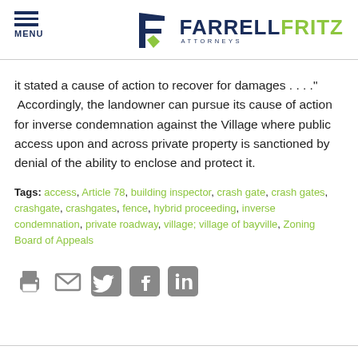[Figure (logo): Farrell Fritz Attorneys logo with hamburger menu icon and MENU label on the left]
it stated a cause of action to recover for damages . . . ." Accordingly, the landowner can pursue its cause of action for inverse condemnation against the Village where public access upon and across private property is sanctioned by denial of the ability to enclose and protect it.
Tags: access, Article 78, building inspector, crash gate, crash gates, crashgate, crashgates, fence, hybrid proceeding, inverse condemnation, private roadway, village; village of bayville, Zoning Board of Appeals
[Figure (infographic): Social media sharing icons: print, email, Twitter, Facebook, LinkedIn]